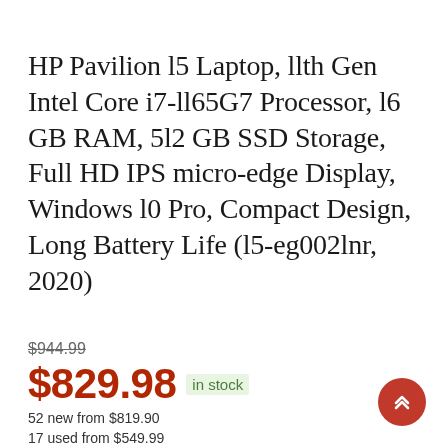HP Pavilion l5 Laptop, llth Gen Intel Core i7-ll65G7 Processor, l6 GB RAM, 5l2 GB SSD Storage, Full HD IPS micro-edge Display, Windows l0 Pro, Compact Design, Long Battery Life (l5-eg002lnr, 2020)
$944.99
$829.98 in stock
52 new from $819.90
17 used from $549.99